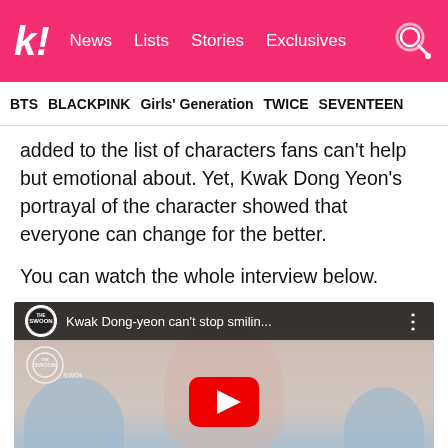k! News  Lists  Stories  Exclusives
BTS  BLACKPINK  Girls' Generation  TWICE  SEVENTEEN
added to the list of characters fans can't help but emotional about. Yet, Kwak Dong Yeon's portrayal of the character showed that everyone can change for the better.
You can watch the whole interview below.
[Figure (screenshot): YouTube video embed thumbnail showing Kwak Dong-yeon smiling, with The Swoon logo, video title 'Kwak Dong-yeon can't stop smilin...' and YouTube play button overlay]